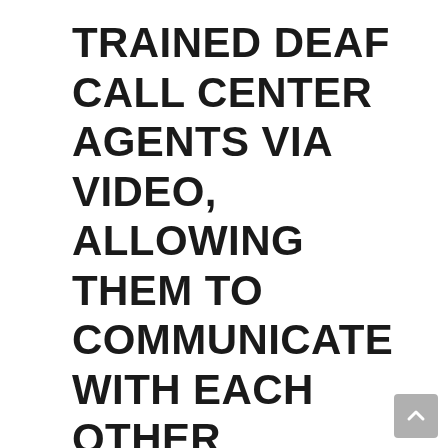TRAINED DEAF CALL CENTER AGENTS VIA VIDEO, ALLOWING THEM TO COMMUNICATE WITH EACH OTHER DIRECTLY RATHER THAN RELYING ON THIRD-PARTY INTERMEDIARIES SUCH AS INTERPRETERS. THIS IS OFTEN REFERRED TO AS DIRECT VIDEO CALLING OR DVC. CSD ESTABLISHED AN ASL